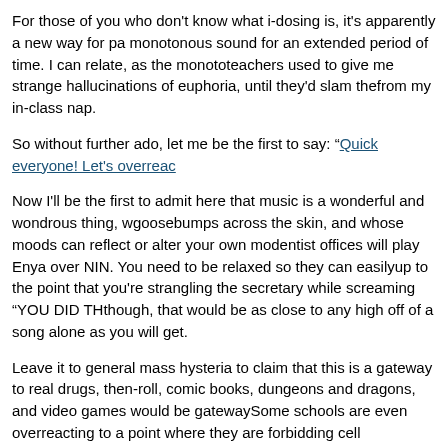For those of you who don't know what i-dosing is, it's apparently a new way for p[eople to get high by listening to] a monotonous sound for an extended period of time. I can relate, as the monoto[nous lectures from my] teachers used to give me strange hallucinations of euphoria, until they'd slam the [desk to wake me up] from my in-class nap.
So without further ado, let me be the first to say: "Quick everyone! Let's overreac[t!]"
Now I'll be the first to admit here that music is a wonderful and wondrous thing, w[hich can cause] goosebumps across the skin, and whose moods can reflect or alter your own mo[od. That's why] dentist offices will play Enya over NIN. You need to be relaxed so they can easily [work, not wound] up to the point that you're strangling the secretary while screaming "YOU DID TH[IS TO ME!" Even so,] though, that would be as close to any high off of a song alone as you will get.
Leave it to general mass hysteria to claim that this is a gateway to real drugs, the[same way rock-and-] n-roll, comic books, dungeons and dragons, and video games would be gateway[s to sin and vice.] Some schools are even overreacting to a point where they are forbidding cell pho[nes. Not, mind you,] because the kids don't really need them in a learning environment, but because t[hey might download] Miley Cyrus (who should just be banned account of stupidity. I mean, really now: ["I can't be tamed"?] as a good lyric?? Way to use your adjectives and metaphors! I love doing things[...]
God forbid some of them should walk outside and see a rainbow…
Anyone with any kind of sound (pun!) reasoning and a solid head on their should[ers can see what the] kids are doing is nothing more than a form sensory deprivation . Headphones on,[lying down,] blindfolded to cut out the light and other visual distractions.